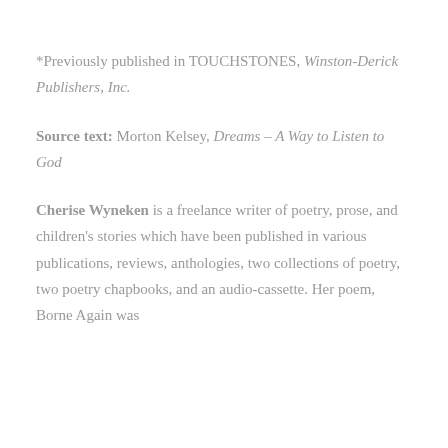*Previously published in TOUCHSTONES, Winston-Derick Publishers, Inc.
Source text: Morton Kelsey, Dreams – A Way to Listen to God
Cherise Wyneken is a freelance writer of poetry, prose, and children's stories which have been published in various publications, reviews, anthologies, two collections of poetry, two poetry chapbooks, and an audio-cassette. Her poem, Borne Again was